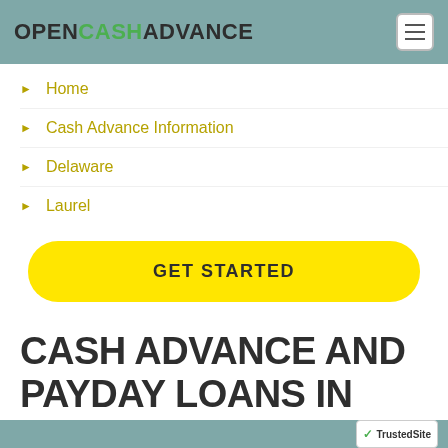OPENCASHADVANCE
Home
Cash Advance Information
Delaware
Laurel
GET STARTED
CASH ADVANCE AND PAYDAY LOANS IN LAUREL, DE.
TrustedSite